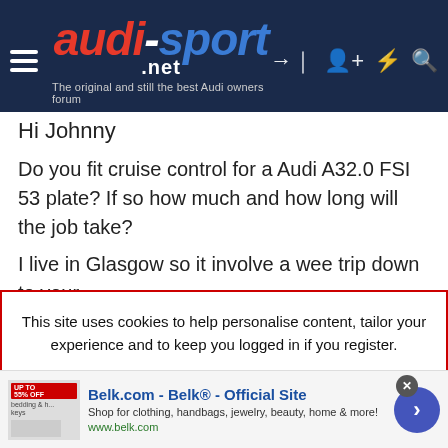audi-sport.net — The original and still the best Audi owners forum
Hi Johnny
Do you fit cruise control for a Audi A32.0 FSI 53 plate? If so how much and how long will the job take?
I live in Glasgow so it involve a wee trip down to your
This site uses cookies to help personalise content, tailor your experience and to keep you logged in if you register.
By continuing to use this site, you are consenting to our use of cookies.
[Figure (screenshot): Cookie consent banner with Accept and Learn More buttons in red]
[Figure (infographic): Belk.com advertisement banner - Belk® Official Site, shop for clothing, handbags, jewelry, beauty, home & more! www.belk.com]